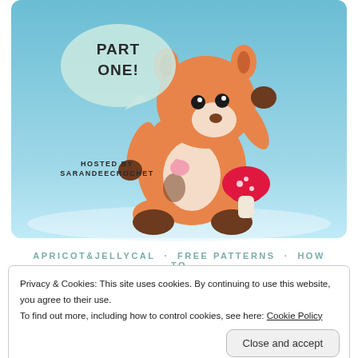[Figure (photo): A crocheted squirrel amigurumi toy in orange and brown sitting against a light blue background, holding a pink mushroom. A speech bubble reads 'PART ONE!' and text reads 'HOSTED BY SARANDEECROCHET'.]
APRICOT&JELLYCAL · FREE PATTERNS · HOW TO
Privacy & Cookies: This site uses cookies. By continuing to use this website, you agree to their use.
To find out more, including how to control cookies, see here: Cookie Policy